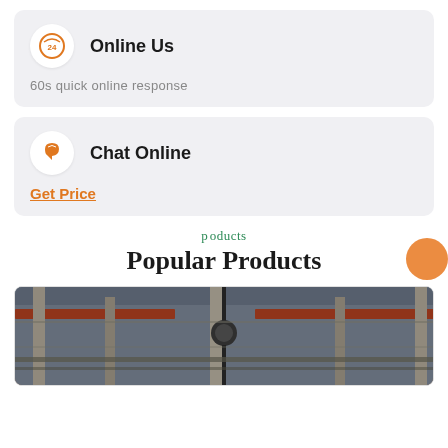Online Us
60s quick online response
Chat Online
Get Price
p oducts
Popular Products
[Figure (photo): Industrial interior with overhead cranes, beams, and a hook hanging from a cable in a factory setting]